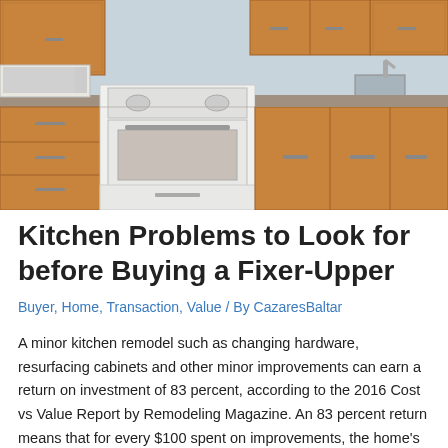[Figure (photo): Interior photo of an outdated kitchen with honey-oak wood cabinets, a white electric range/oven, microwave on the counter, stainless sink, and light beige tile floor.]
Kitchen Problems to Look for before Buying a Fixer-Upper
Buyer, Home, Transaction, Value / By CazaresBaltar
A minor kitchen remodel such as changing hardware, resurfacing cabinets and other minor improvements can earn a return on investment of 83 percent, according to the 2016 Cost vs Value Report by Remodeling Magazine. An 83 percent return means that for every $100 spent on improvements, the home's value increases by $83, on average.